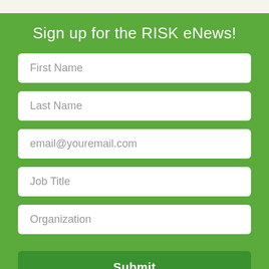Sign up for the RISK eNews!
First Name
Last Name
email@youremail.com
Job Title
Organization
Submit